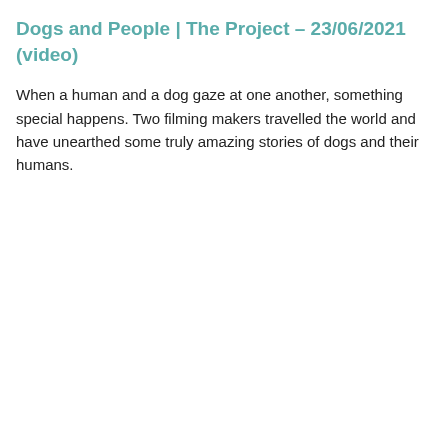Dogs and People | The Project – 23/06/2021 (video)
When a human and a dog gaze at one another, something special happens. Two filming makers travelled the world and have unearthed some truly amazing stories of dogs and their humans.